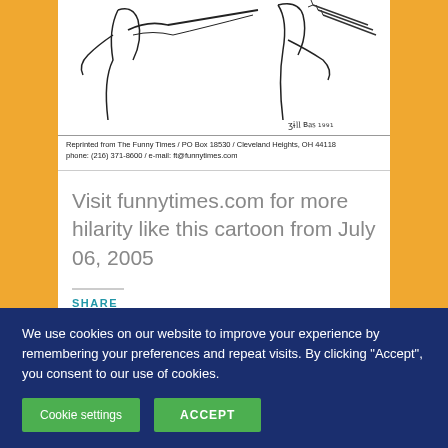[Figure (illustration): Partial view of a black-and-white cartoon illustration showing figures with arrows, signed by the artist. Below the illustration is a reprint notice: 'Reprinted from The Funny Times / PO Box 18530 / Cleveland Heights, OH 44118 / phone: (216) 371-8600 / e-mail: ft@funnytimes.com']
Reprinted from The Funny Times / PO Box 18530 / Cleveland Heights, OH 44118 phone: (216) 371-8600 / e-mail: ft@funnytimes.com
Visit funnytimes.com for more hilarity like this cartoon from July 06, 2005
SHARE
[Figure (other): Social share icons: Facebook (blue circle), Pinterest (red circle), Reddit (light blue circle), Twitter (cyan circle)]
We use cookies on our website to improve your experience by remembering your preferences and repeat visits. By clicking “Accept”, you consent to our use of cookies.
Cookie settings
ACCEPT